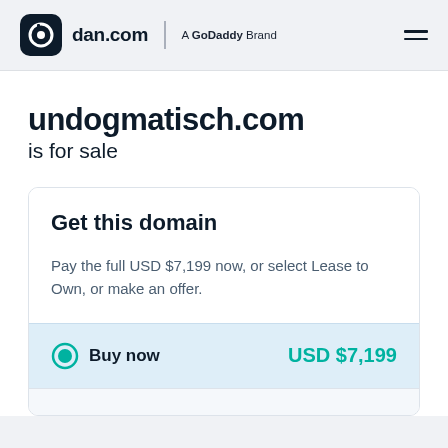dan.com — A GoDaddy Brand
undogmatisch.com is for sale
Get this domain
Pay the full USD $7,199 now, or select Lease to Own, or make an offer.
Buy now — USD $7,199